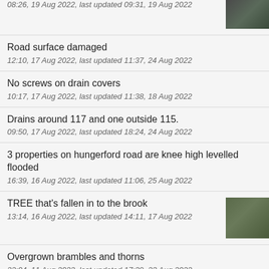08:26, 19 Aug 2022, last updated 09:31, 19 Aug 2022
Road surface damaged
12:10, 17 Aug 2022, last updated 11:37, 24 Aug 2022
No screws on drain covers
10:17, 17 Aug 2022, last updated 11:38, 18 Aug 2022
Drains around 117 and one outside 115.
09:50, 17 Aug 2022, last updated 18:24, 24 Aug 2022
3 properties on hungerford road are knee high levelled flooded
16:39, 16 Aug 2022, last updated 11:06, 25 Aug 2022
TREE that's fallen in to the brook
13:14, 16 Aug 2022, last updated 14:11, 17 Aug 2022
Overgrown brambles and thorns
22:04, 11 Aug 2022, last updated 17:39, 23 Aug 2022
Shrubs brambles thorns.
22:00, 11 Aug 2022, last updated 17:40, 23 Aug 2022